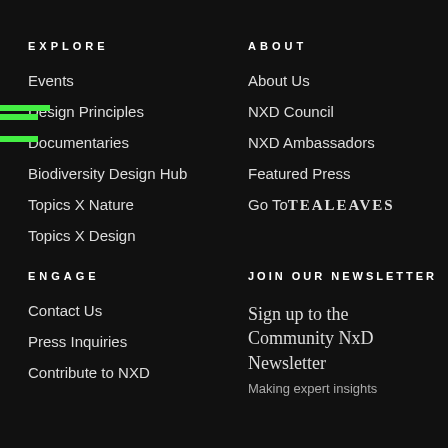EXPLORE
Events
Design Principles
Documentaries
Biodiversity Design Hub
Topics X Nature
Topics X Design
ABOUT
About Us
NXD Council
NXD Ambassadors
Featured Press
Go To TEALEAVES
ENGAGE
Contact Us
Press Inquiries
Contribute to NXD
JOIN OUR NEWSLETTER
Sign up to the Community NxD Newsletter
Making expert insights